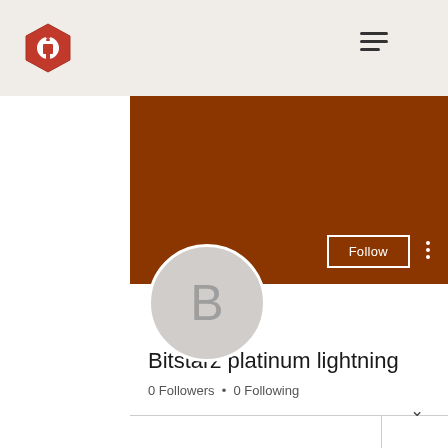[Figure (screenshot): User profile page showing a brown/burnt-orange banner, a circular avatar with letter B, Follow button, username Bitstarz platinum lightning, follower stats, and Profile section with join date.]
Bitstarz platinum lightning
0 Followers • 0 Following
Profile
Join date: Jun 19, 2022